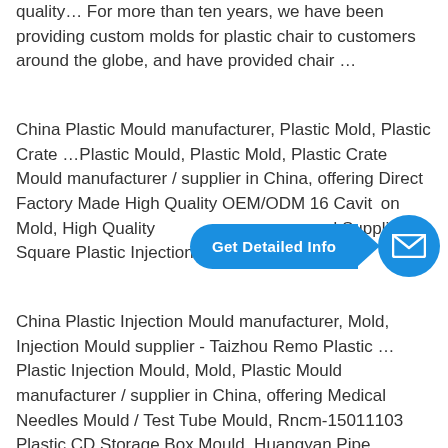quality… For more than ten years, we have been providing custom molds for plastic chair to customers around the globe, and have provided chair …
China Plastic Mould manufacturer, Plastic Mold, Plastic Crate …Plastic Mould, Plastic Mold, Plastic Crate Mould manufacturer / supplier in China, offering Direct Factory Made High Quality OEM/ODM 16 Cavity PP Plastic Injection Mold, High Quality Factory Direct Trade Supplier Square Plastic Injection Flower Pot
[Figure (other): A blue rounded button labeled 'Get Detailed Info' with an arrow pointing right, connected to a blue circle containing a white envelope/mail icon.]
China Plastic Injection Mould manufacturer, Mold, Injection Mould supplier - Taizhou Remo Plastic … Plastic Injection Mould, Mold, Plastic Mould manufacturer / supplier in China, offering Medical Needles Mould / Test Tube Mould, Rncm-15011103 Plastic CD Storage Box Mould, Huangyan Pipe…